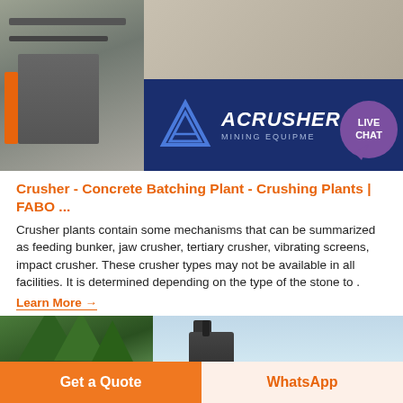[Figure (photo): Banner image showing heavy mining/crusher equipment on the left, and ACRUSHER MINING EQUIPMENT logo on a dark blue background on the right, with a purple live chat bubble in the corner.]
Crusher - Concrete Batching Plant - Crushing Plants | FABO ...
Crusher plants contain some mechanisms that can be summarized as feeding bunker, jaw crusher, tertiary crusher, vibrating screens, impact crusher. These crusher types may not be available in all facilities. It is determined depending on the type of the stone to .
Learn More →
[Figure (photo): Partial bottom image showing trees on the left and industrial machinery/crusher equipment on the right against a light sky background.]
Get a Quote
WhatsApp